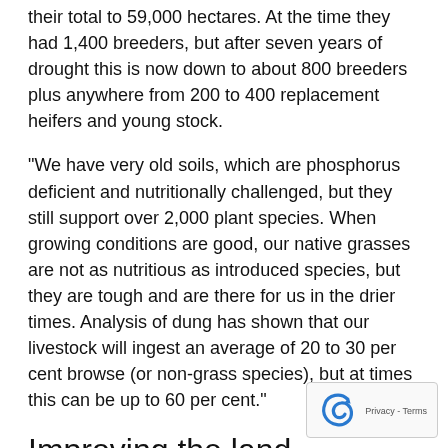their total to 59,000 hectares. At the time they had 1,400 breeders, but after seven years of drought this is now down to about 800 breeders plus anywhere from 200 to 400 replacement heifers and young stock.
“We have very old soils, which are phosphorus deficient and nutritionally challenged, but they still support over 2,000 plant species. When growing conditions are good, our native grasses are not as nutritious as introduced species, but they are tough and are there for us in the drier times. Analysis of dung has shown that our livestock will ingest an average of 20 to 30 per cent browse (or non-grass species), but at times this can be up to 60 per cent.”
Improving the land
“We have been very fortunate to be able to retain a [core] of breeding stock over the last seven years. For us, t[he key]